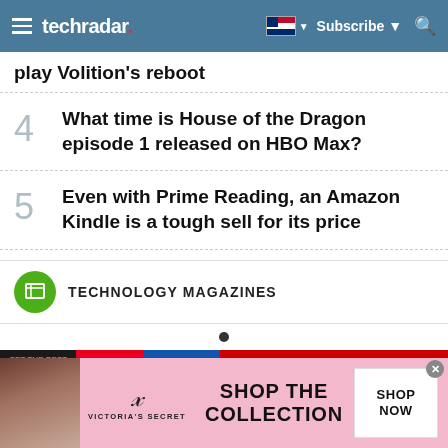techradar
play Volition's reboot
4 What time is House of the Dragon episode 1 released on HBO Max?
5 Even with Prime Reading, an Amazon Kindle is a tough sell for its price
TECHNOLOGY MAGAZINES
[Figure (other): Magazine carousel showing Linux, T3, Mac, What HiFi covers]
[Figure (advertisement): Victoria's Secret advertisement banner with model, VS logo, SHOP THE COLLECTION, SHOP NOW button]